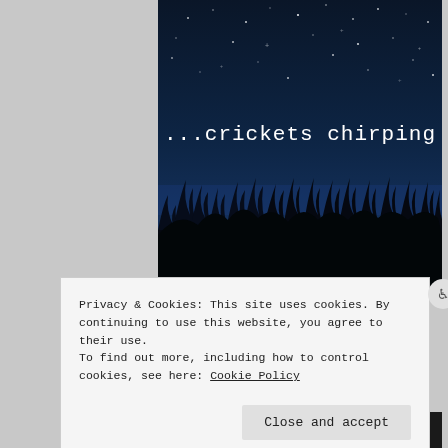[Figure (illustration): Night sky illustration showing a dark blue starry sky with grass silhouettes at the bottom. White text reads '...crickets chirping'.]
Privacy & Cookies: This site uses cookies. By continuing to use this website, you agree to their use.
To find out more, including how to control cookies, see here: Cookie Policy
Close and accept